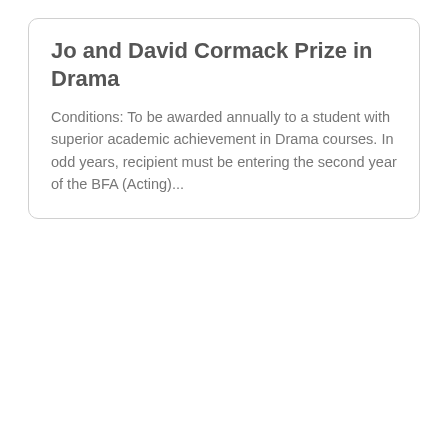Jo and David Cormack Prize in Drama
Conditions: To be awarded annually to a student with superior academic achievement in Drama courses. In odd years, recipient must be entering the second year of the BFA (Acting)...